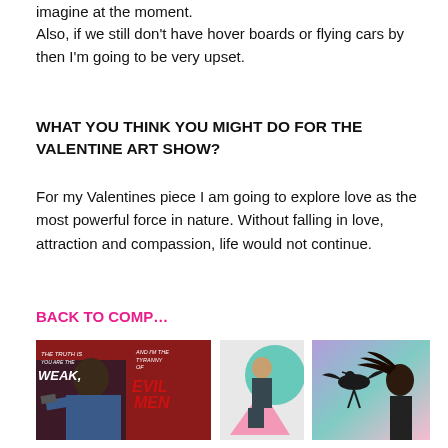imagine at the moment.
Also, if we still don't have hover boards or flying cars by then I'm going to be very upset.
WHAT YOU THINK YOU MIGHT DO FOR THE VALENTINE ART SHOW?
For my Valentines piece I am going to explore love as the most powerful force in nature. Without falling in love, attraction and compassion, life would not continue.
BACK TO COMP…
[Figure (photo): Movie poster-style image with text 'The truth is you are the weak' and 'And I'm the tyranny of Evil Men' with a man holding a gun, red background]
[Figure (photo): Abstract geometric image with teal circle, pink triangle, and a man figure]
[Figure (photo): Photo of a bird (crow/raven) and a woman with wind-blown hair against a blue-purple blurred background]